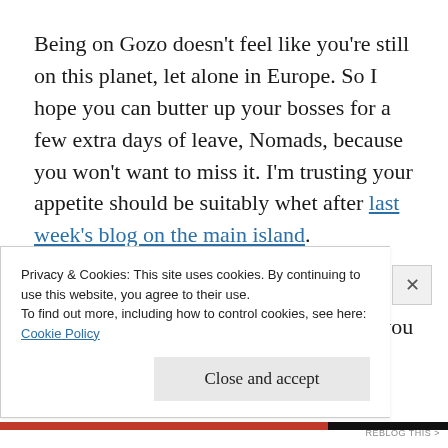Being on Gozo doesn't feel like you're still on this planet, let alone in Europe. So I hope you can butter up your bosses for a few extra days of leave, Nomads, because you won't want to miss it. I'm trusting your appetite should be suitably whet after last week's blog on the main island.
Boss-buttering dependent, you'll land in Mgarr, off the ferry from Malta, where you can
Privacy & Cookies: This site uses cookies. By continuing to use this website, you agree to their use.
To find out more, including how to control cookies, see here:
Cookie Policy